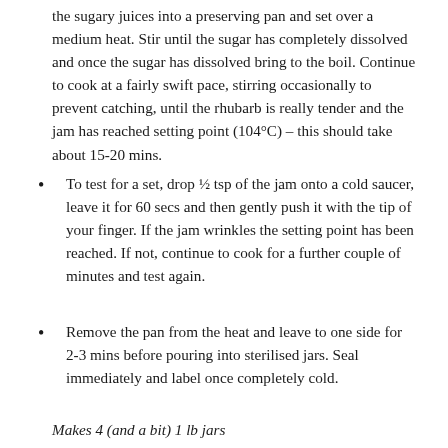the sugary juices into a preserving pan and set over a medium heat. Stir until the sugar has completely dissolved and once the sugar has dissolved bring to the boil. Continue to cook at a fairly swift pace, stirring occasionally to prevent catching, until the rhubarb is really tender and the jam has reached setting point (104°C) – this should take about 15-20 mins.
To test for a set, drop ½ tsp of the jam onto a cold saucer, leave it for 60 secs and then gently push it with the tip of your finger. If the jam wrinkles the setting point has been reached. If not, continue to cook for a further couple of minutes and test again.
Remove the pan from the heat and leave to one side for 2-3 mins before pouring into sterilised jars. Seal immediately and label once completely cold.
Makes 4 (and a bit) 1 lb jars